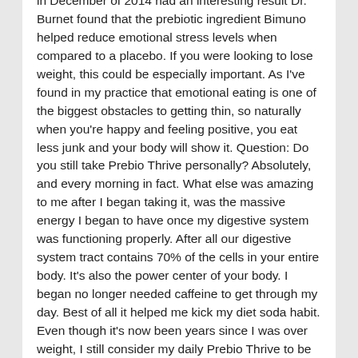in December of 2014 had an interesting result Dr. Burnet found that the prebiotic ingredient Bimuno helped reduce emotional stress levels when compared to a placebo. If you were looking to lose weight, this could be especially important. As I've found in my practice that emotional eating is one of the biggest obstacles to getting thin, so naturally when you're happy and feeling positive, you eat less junk and your body will show it. Question: Do you still take Prebio Thrive personally? Absolutely, and every morning in fact. What else was amazing to me after I began taking it, was the massive energy I began to have once my digestive system was functioning properly. After all our digestive system tract contains 70% of the cells in your entire body. It's also the power center of your body. I began no longer needed caffeine to get through my day. Best of all it helped me kick my diet soda habit. Even though it's now been years since I was over weight, I still consider my daily Prebio Thrive to be my most important ally in managing my weight. Question: Can you explain again the difference between this and probiotics? Sure, so as I mentioned before probiotics are beneficial bacteria.